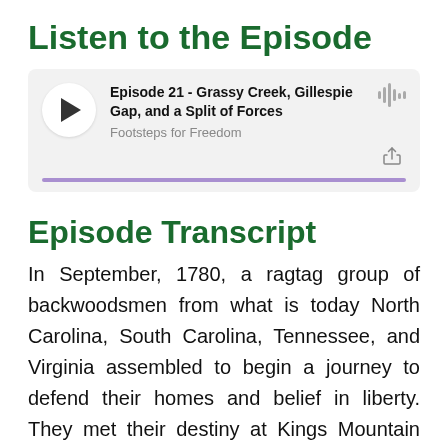Listen to the Episode
[Figure (other): Podcast player widget showing Episode 21 - Grassy Creek, Gillespie Gap, and a Split of Forces from Footsteps for Freedom, with play button, waveform icon, share icon, and purple progress bar]
Episode Transcript
In September, 1780, a ragtag group of backwoodsmen from what is today North Carolina, South Carolina, Tennessee, and Virginia assembled to begin a journey to defend their homes and belief in liberty. They met their destiny at Kings Mountain and this is their story. The Mitchell County Historical